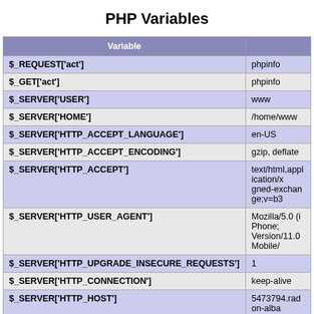PHP Variables
| Variable |  |
| --- | --- |
| $_REQUEST['act'] | phpinfo |
| $_GET['act'] | phpinfo |
| $_SERVER['USER'] | www |
| $_SERVER['HOME'] | /home/www |
| $_SERVER['HTTP_ACCEPT_LANGUAGE'] | en-US |
| $_SERVER['HTTP_ACCEPT_ENCODING'] | gzip, deflate |
| $_SERVER['HTTP_ACCEPT'] | text/html,application/xhtml+xml,application/xml;q=0.9,image/webp,image/apng,*/*;q=0.8,application/signed-exchange;v=b3 |
| $_SERVER['HTTP_USER_AGENT'] | Mozilla/5.0 (iPhone; CPU iPhone OS 11_0 like Mac OS X) AppleWebKit/604.1.38 (KHTML, like Gecko) Version/11.0 Mobile/15A372 Safari/604.1 |
| $_SERVER['HTTP_UPGRADE_INSECURE_REQUESTS'] | 1 |
| $_SERVER['HTTP_CONNECTION'] | keep-alive |
| $_SERVER['HTTP_HOST'] | 5473794.radon-alba... |
| $_SERVER['PHP_ADMIN_VALUE'] | open_basedir=/hom... |
| $_SERVER['REDIRECT_STATUS'] | 200 |
| $_SERVER['SERVER_NAME'] | _ |
| $_SERVER['SERVER_PORT'] | 80 |